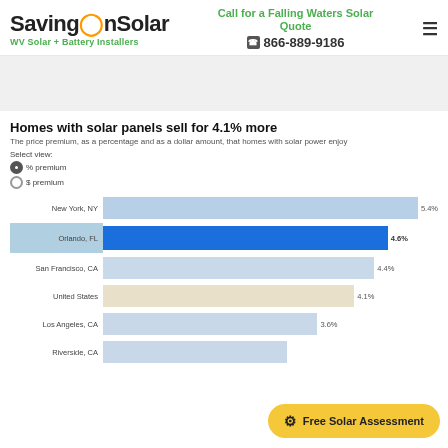SavingOnSolar — WV Solar + Battery Installers | Call for a Falling Waters Solar Quote | 866-889-9186
Homes with solar panels sell for 4.1% more
The price premium, as a percentage and as a dollar amount, that homes with solar power enjoy
Select view:
● % premium
○ $ premium
[Figure (bar-chart): Homes with solar panels sell for 4.1% more]